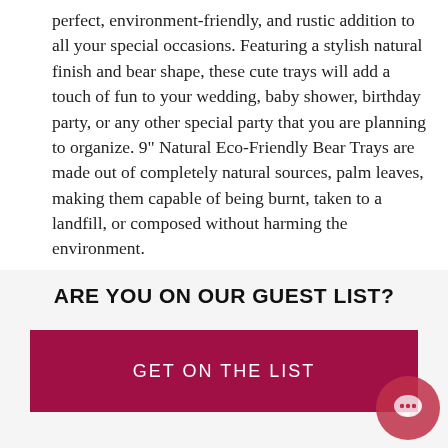perfect, environment-friendly, and rustic addition to all your special occasions. Featuring a stylish natural finish and bear shape, these cute trays will add a touch of fun to your wedding, baby shower, birthday party, or any other special party that you are planning to organize. 9" Natural Eco-Friendly Bear Trays are made out of completely natural sources, palm leaves, making them capable of being burnt, taken to a landfill, or composed without harming the environment.
Convenient and versatile, the Palm Leaf Trays bring to the table elegant presence and functionality. Compatible with hot and cold food, these charming disposable trays are very convenient and practical for serving all manner of culinary delights, including salads, appetizers, entrees, and desserts. With the perfect fusion of design, efficiency, and ecological sensitivity, these supreme trays are a wonderful addition to all your fancy
ARE YOU ON OUR GUEST LIST?
GET ON THE LIST